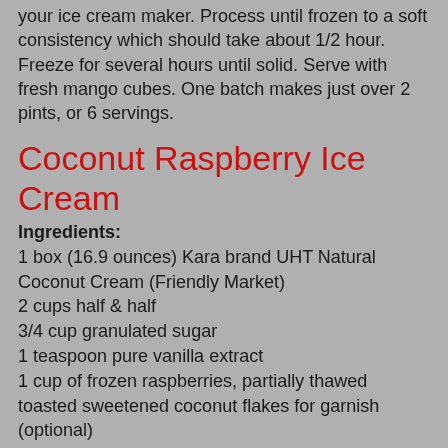your ice cream maker. Process until frozen to a soft consistency which should take about 1/2 hour. Freeze for several hours until solid. Serve with fresh mango cubes. One batch makes just over 2 pints, or 6 servings.
Coconut Raspberry Ice Cream
Ingredients:
1 box (16.9 ounces) Kara brand UHT Natural Coconut Cream (Friendly Market)
2 cups half & half
3/4 cup granulated sugar
1 teaspoon pure vanilla extract
1 cup of frozen raspberries, partially thawed
toasted sweetened coconut flakes for garnish (optional)
Procedure:
Place the coconut cream, half & half, sugar, and vanilla extract in a blender or food processor. Blend until combined, about 30 seconds.
Freeze using an ice cream maker, according to